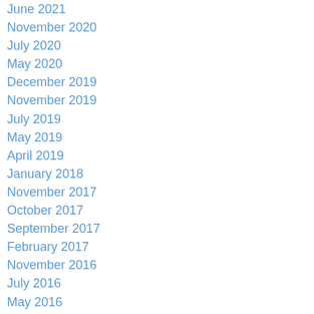June 2021
November 2020
July 2020
May 2020
December 2019
November 2019
July 2019
May 2019
April 2019
January 2018
November 2017
October 2017
September 2017
February 2017
November 2016
July 2016
May 2016
February 2016
July 2015
June 2015
Categories